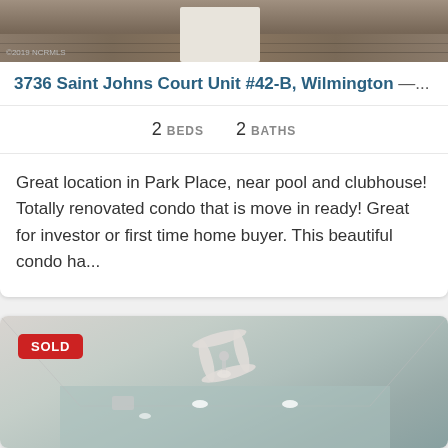[Figure (photo): Interior photo showing flooring, partial room view with ©2019 NCRMLS watermark]
3736 Saint Johns Court Unit #42-B, Wilmington —...
2 BEDS  2 BATHS
Great location in Park Place, near pool and clubhouse! Totally renovated condo that is move in ready! Great for investor or first time home buyer. This beautiful condo ha...
[Figure (photo): Interior photo of room with ceiling fan and recessed lighting, marked SOLD]